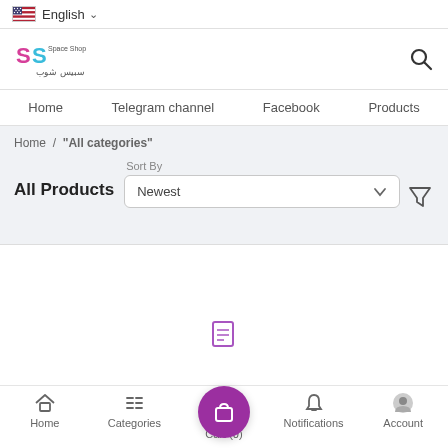English
[Figure (logo): Space Shop logo with Arabic text سبيس شوب and colorful SS icon]
Home   Telegram channel   Facebook   Products
Home / "All categories"
Sort By
All Products
Newest
Home   Categories   Cart (0)   Notifications   Account